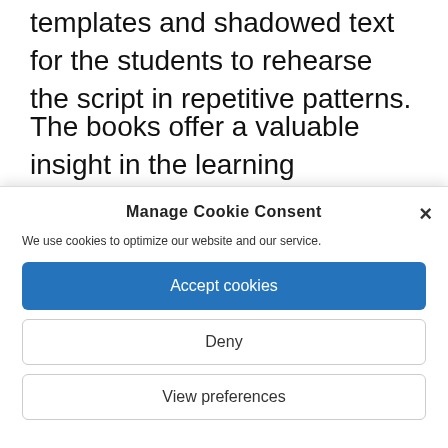templates and shadowed text for the students to rehearse the script in repetitive patterns.
The books offer a valuable insight in the learning techniques of the Ottoman calligraphy and every day script.
[Figure (screenshot): Cookie consent dialog with title 'Manage Cookie Consent', a close (×) button, description text 'We use cookies to optimize our website and our service.', and three buttons: 'Accept cookies' (blue), 'Deny' (white/outlined), 'View preferences' (white/outlined).]